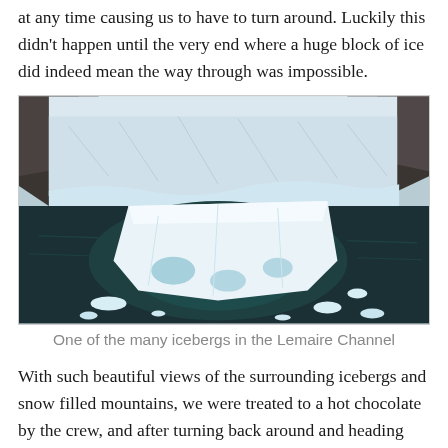at any time causing us to have to turn around. Luckily this didn't happen until the very end where a huge block of ice did indeed mean the way through was impossible.
[Figure (photo): An iceberg in the Lemaire Channel, Antarctica. A large flat-topped white iceberg floats in dark teal-green water, with a snowy glacier and rocky mountains in the background. Smaller ice chunks float around it.]
One of the many icebergs in the Lemaire Channel
With such beautiful views of the surrounding icebergs and snow filled mountains, we were treated to a hot chocolate by the crew, and after turning back around and heading north again, we then headed for